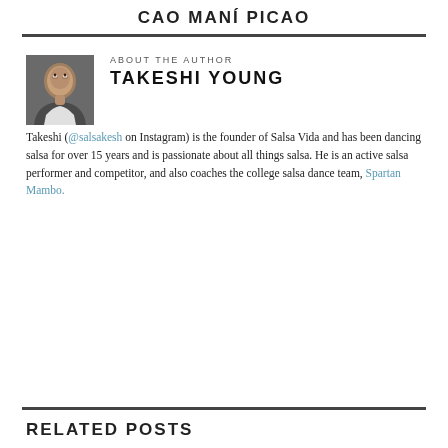CAO MANÍ PICAO
[Figure (photo): Portrait photo of Takeshi Young, a man looking upward, dark background]
ABOUT THE AUTHOR
TAKESHI YOUNG
Takeshi (@salsakesh on Instagram) is the founder of Salsa Vida and has been dancing salsa for over 15 years and is passionate about all things salsa. He is an active salsa performer and competitor, and also coaches the college salsa dance team, Spartan Mambo.
RELATED POSTS